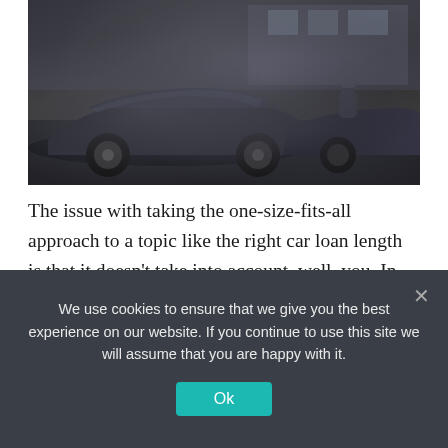[Figure (photo): A car dealership scene showing dark colored cars in the foreground with a person visible in the background near vehicles]
The issue with taking the one-size-fits-all approach to a topic like the right car loan length is that it doesn't take into account, well, you. In other words, your age, monthly budget, creditworthiness, and so forth is different than your neighbor's situation. If your credit score is 750, you have a completely different
We use cookies to ensure that we give you the best experience on our website. If you continue to use this site we will assume that you are happy with it.